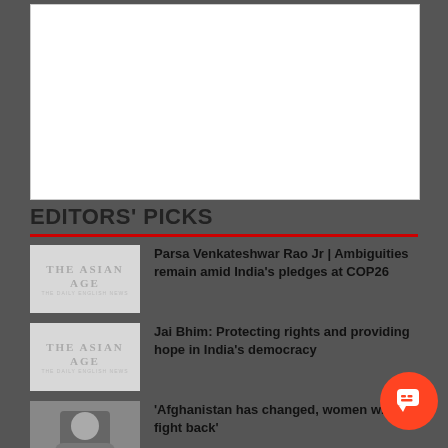[Figure (other): White advertisement box with border]
EDITORS' PICKS
[Figure (other): The Asian Age logo thumbnail]
Parsa Venkateshwar Rao Jr | Ambiguities remain amid India’s pledges at COP26
[Figure (other): The Asian Age logo thumbnail]
Jai Bhim: Protecting rights and providing hope in India’s democracy
[Figure (photo): Photo of a person (partial), dark background]
‘Afghanistan has changed, women will fight back’